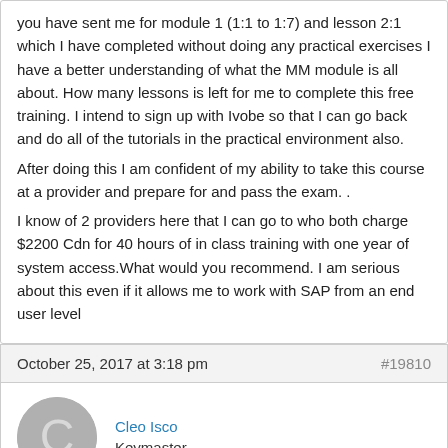you have sent me for module 1 (1:1 to 1:7) and lesson 2:1 which I have completed without doing any practical exercises I have a better understanding of what the MM module is all about. How many lessons is left for me to complete this free training. I intend to sign up with Ivobe so that I can go back and do all of the tutorials in the practical environment also.
After doing this I am confident of my ability to take this course at a provider and prepare for and pass the exam. .
I know of 2 providers here that I can go to who both charge $2200 Cdn for 40 hours of in class training with one year of system access.What would you recommend. I am serious about this even if it allows me to work with SAP from an end user level
October 25, 2017 at 3:18 pm    #19810
Cleo Isco
Keymaster
Thanks for taking the free course! I don't know these providers and cannot say anything about them.
Author    Posts